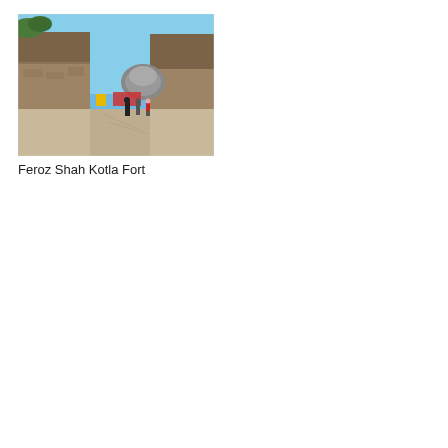[Figure (photo): Photograph of Feroz Shah Kotla Fort showing ancient stone fort walls with a courtyard area, people walking, under a clear blue sky.]
Feroz Shah Kotla Fort